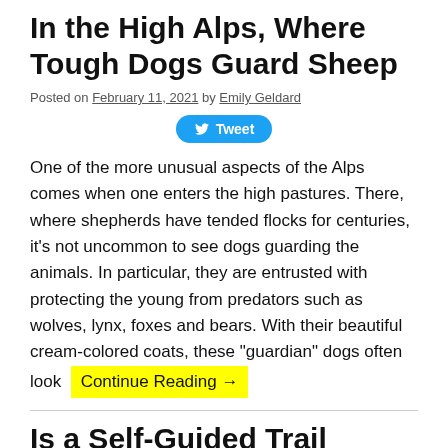In the High Alps, Where Tough Dogs Guard Sheep
Posted on February 11, 2021 by Emily Geldard
[Figure (other): Tweet button with Twitter bird icon]
One of the more unusual aspects of the Alps comes when one enters the high pastures. There, where shepherds have tended flocks for centuries, it’s not uncommon to see dogs guarding the animals. In particular, they are entrusted with protecting the young from predators such as wolves, lynx, foxes and bears. With their beautiful cream-colored coats, these “guardian” dogs often look Continue Reading →
Is a Self-Guided Trail Running Trip for Me?